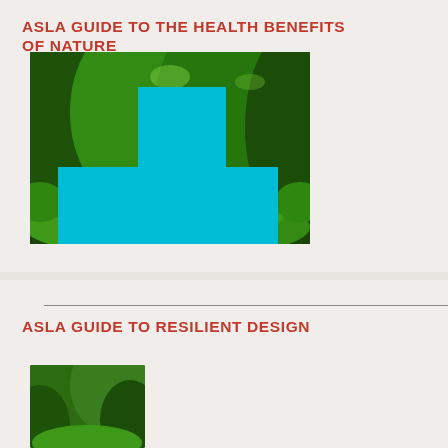ASLA GUIDE TO THE HEALTH BENEFITS OF NATURE
[Figure (illustration): Forest path photograph with a large cyan/turquoise medical cross symbol overlaid in the center]
ASLA GUIDE TO RESILIENT DESIGN
[Figure (photo): Partial view of another nature/landscape photograph at the bottom of the page]